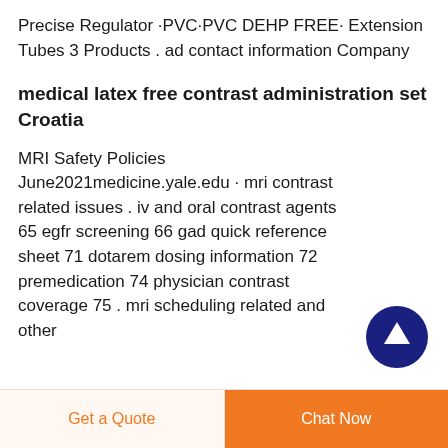Precise Regulator ·PVC·PVC DEHP FREE· Extension Tubes 3 Products . ad contact information Company
medical latex free contrast administration set Croatia
MRI Safety Policies June2021medicine.yale.edu · mri contrast related issues . iv and oral contrast agents 65 egfr screening 66 gad quick reference sheet 71 dotarem dosing information 72 premedication 74 physician contrast coverage 75 . mri scheduling related and other
[Figure (other): Dark blue circular button with white upward arrow icon (scroll to top button)]
Get a Quote
Chat Now